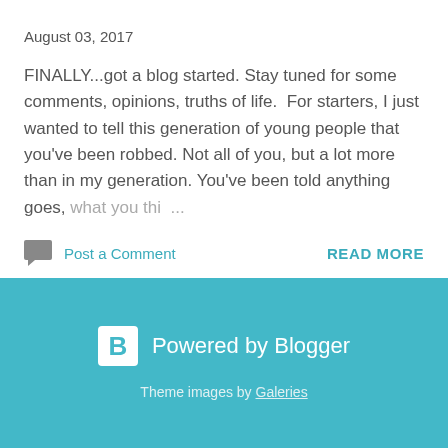August 03, 2017
FINALLY...got a blog started. Stay tuned for some comments, opinions, truths of life.  For starters, I just wanted to tell this generation of young people that you've been robbed. Not all of you, but a lot more than in my generation. You've been told anything goes, what you thi ...
Post a Comment
READ MORE
Powered by Blogger
Theme images by Galeries